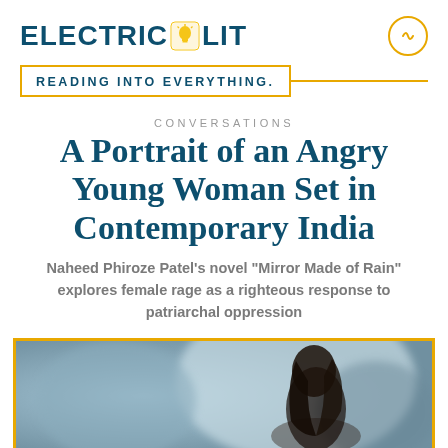ELECTRIC LIT
READING INTO EVERYTHING.
CONVERSATIONS
A Portrait of an Angry Young Woman Set in Contemporary India
Naheed Phiroze Patel's novel "Mirror Made of Rain" explores female rage as a righteous response to patriarchal oppression
[Figure (photo): A blurred outdoor photograph showing a woman with dark hair in the foreground, with soft bokeh green and blue background]